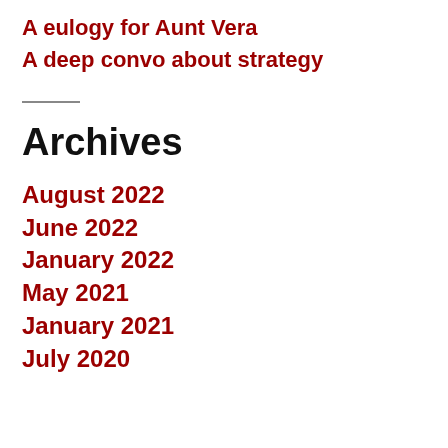A eulogy for Aunt Vera
A deep convo about strategy
Archives
August 2022
June 2022
January 2022
May 2021
January 2021
July 2020